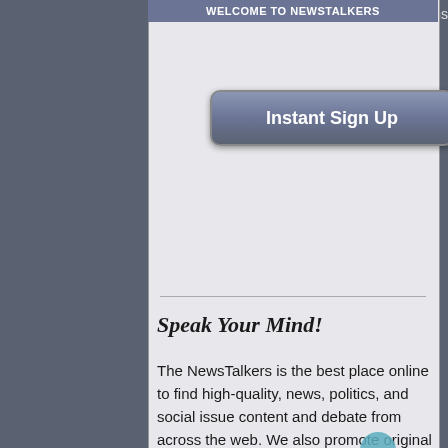[Figure (screenshot): Mobile web screenshot showing a NewsTalkers sign-up modal overlay on top of a news article background. The modal contains an 'Instant Sign Up' button, a divider, a 'Speak Your Mind!' heading, and descriptive body text about NewsTalkers. Background shows partial article text.]
Speak Your Mind!
The NewsTalkers is the best place online to find high-quality, news, politics, and social issue content and debate from across the web. We also promote original commentary for in-depth discussions. The NewsTalkers provides this within a community setting, that is fully moderated and member-centric. What makes us unique is that the membership has a voice in all aspects of NewsTalkers. Come join and "Speak your mind".